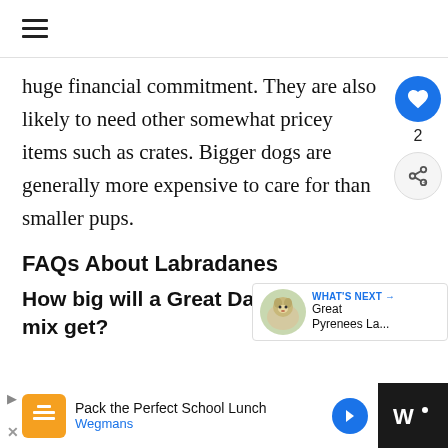☰
huge financial commitment. They are also likely to need other somewhat pricey items such as crates. Bigger dogs are generally more expensive to care for than smaller pups.
FAQs About Labradanes
How big will a Great Dane Lab mix get?
[Figure (screenshot): What's Next panel showing a dog photo thumbnail with 'WHAT'S NEXT → Great Pyrenees La...' text]
[Figure (infographic): Advertisement bar at bottom: Pack the Perfect School Lunch - Wegmans]
[Figure (infographic): Social sidebar with heart/like button (2 likes) and share button]